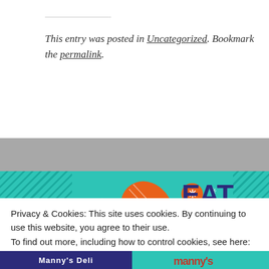This entry was posted in Uncategorized. Bookmark the permalink.
[Figure (illustration): Eat and Greet event flyer with orange microphone on teal background, partial view of a person, diagonal stripe borders]
Privacy & Cookies: This site uses cookies. By continuing to use this website, you agree to their use. To find out more, including how to control cookies, see here: Cookie Policy
Close and accept
Manny's Deli